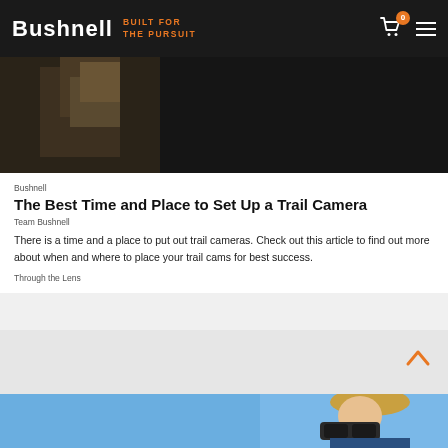Bushnell | BUILT FOR THE PURSUIT
[Figure (photo): Dark photo of a trail camera mounted near foliage]
Bushnell
The Best Time and Place to Set Up a Trail Camera
Team Bushnell
There is a time and a place to put out trail cameras. Check out this article to find out more about when and where to place your trail cams for best success.
Through the Lens
[Figure (photo): Woman with blonde hair looking through binoculars against a blue sky]